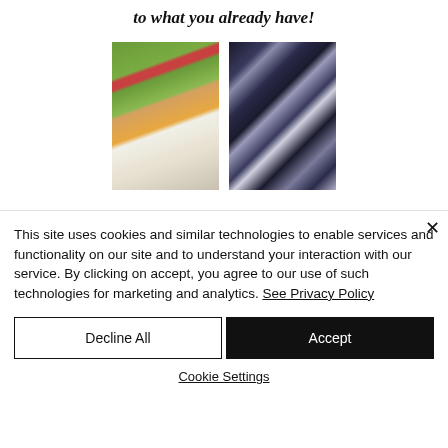to what you already have!
[Figure (photo): Two photos side by side: left is a woman in an orange top sitting in a garden with red flowers; right is a dark geometric quilt/fabric with triangular patterns.]
This site uses cookies and similar technologies to enable services and functionality on our site and to understand your interaction with our service. By clicking on accept, you agree to our use of such technologies for marketing and analytics. See Privacy Policy
Decline All
Accept
Cookie Settings